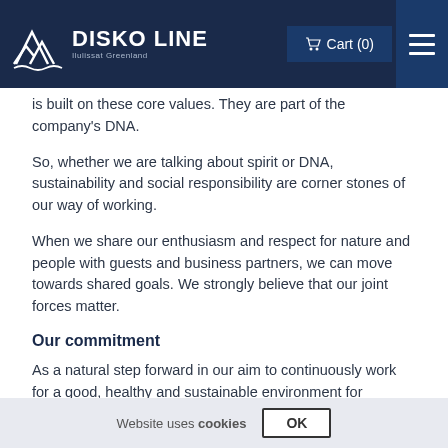DISKO LINE — Cart (0)
is built on these core values. They are part of the company's DNA.
So, whether we are talking about spirit or DNA, sustainability and social responsibility are corner stones of our way of working.
When we share our enthusiasm and respect for nature and people with guests and business partners, we can move towards shared goals. We strongly believe that our joint forces matter.
Our commitment
As a natural step forward in our aim to continuously work for a good, healthy and sustainable environment for employees, guests, partners and our natural surroundings around the globe, we have complied with the international standards stated by the UN Global Compact programme.
Website uses cookies  OK